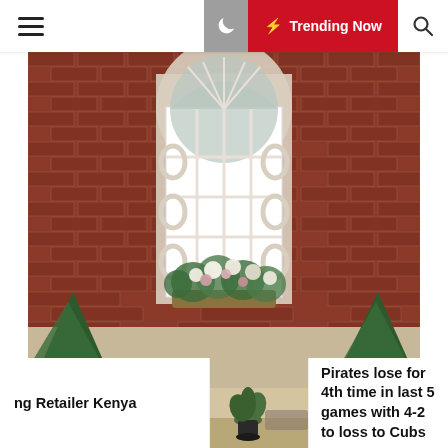☰  🌙  ⚡ Trending Now  🔍
[Figure (photo): Photograph of a red brick building facade featuring a large arched Palladian window with white trim and ornate muntins, a window box filled with white and pink flowers, evergreen shrubs at the base, and a decorative iron fence in the foreground.]
ng Retailer Kenya
[Figure (photo): Small thumbnail photo showing an interior room with a dark plant pot on a wooden surface.]
Pirates lose for 4th time in last 5 games with 4-2 to loss to Cubs